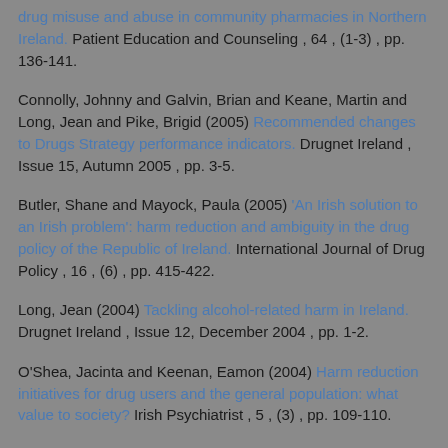drug misuse and abuse in community pharmacies in Northern Ireland. Patient Education and Counseling , 64 , (1-3) , pp. 136-141.
Connolly, Johnny and Galvin, Brian and Keane, Martin and Long, Jean and Pike, Brigid (2005) Recommended changes to Drugs Strategy performance indicators. Drugnet Ireland , Issue 15, Autumn 2005 , pp. 3-5.
Butler, Shane and Mayock, Paula (2005) 'An Irish solution to an Irish problem': harm reduction and ambiguity in the drug policy of the Republic of Ireland. International Journal of Drug Policy , 16 , (6) , pp. 415-422.
Long, Jean (2004) Tackling alcohol-related harm in Ireland. Drugnet Ireland , Issue 12, December 2004 , pp. 1-2.
O'Shea, Jacinta and Keenan, Eamon (2004) Harm reduction initiatives for drug users and the general population: what value to society? Irish Psychiatrist , 5 , (3) , pp. 109-110.
Butler, Shane (2002) The making of the methadone protocol: the